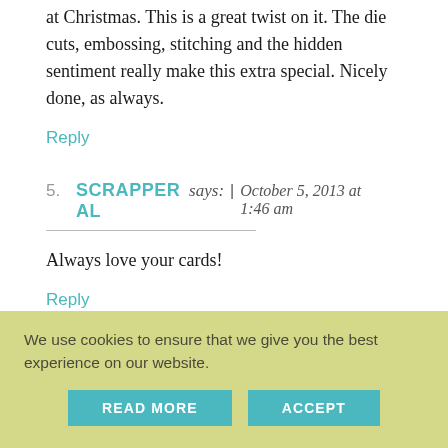at Christmas. This is a great twist on it. The die cuts, embossing, stitching and the hidden sentiment really make this extra special. Nicely done, as always.
Reply
5. SCRAPPER AL says: | October 5, 2013 at 1:46 am
Always love your cards!
Reply
We use cookies to ensure that we give you the best experience on our website.
READ MORE
ACCEPT